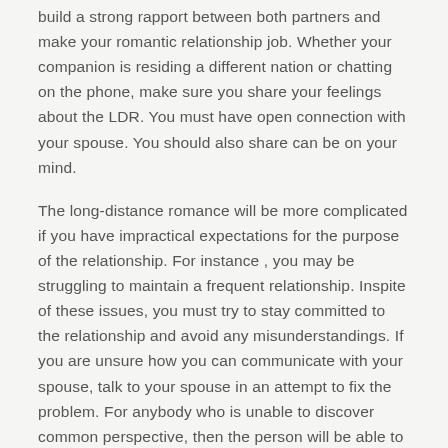build a strong rapport between both partners and make your romantic relationship job. Whether your companion is residing a different nation or chatting on the phone, make sure you share your feelings about the LDR. You must have open connection with your spouse. You should also share can be on your mind.
The long-distance romance will be more complicated if you have impractical expectations for the purpose of the relationship. For instance , you may be struggling to maintain a frequent relationship. Inspite of these issues, you must try to stay committed to the relationship and avoid any misunderstandings. If you are unsure how you can communicate with your spouse, talk to your spouse in an attempt to fix the problem. For anybody who is unable to discover common perspective, then the person will be able to converse effectively with you.
Discuss your expectations. Be manifest about your commitment level. Should you be not able to meet up with in person, ensure you keep in touch simply by sending text messages. If at all possible, try to agenda fun visitors with your partner. You should